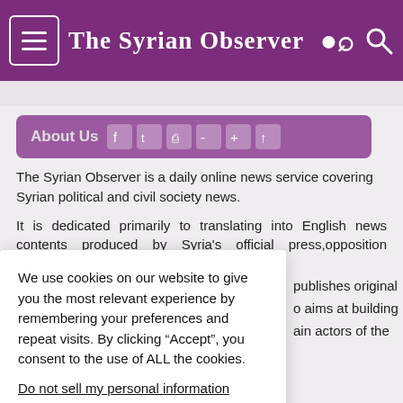The Syrian Observer
About Us
The Syrian Observer is a daily online news service covering Syrian political and civil society news.
It is dedicated primarily to translating into English news contents produced by Syria's official press,opposition groups,activists and
We use cookies on our website to give you the most relevant experience by remembering your preferences and repeat visits. By clicking “Accept”, you consent to the use of ALL the cookies.
Do not sell my personal information.
publishes original o aims at building ain actors of the
Subscribe to our newsletter